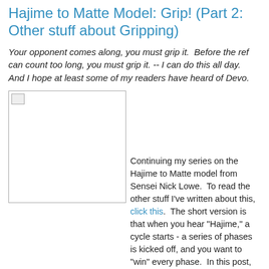Hajime to Matte Model: Grip! (Part 2: Other stuff about Gripping)
Your opponent comes along, you must grip it.  Before the ref can count too long, you must grip it. -- I can do this all day.  And I hope at least some of my readers have heard of Devo.
[Figure (photo): A placeholder image (broken/unloaded image icon) inside a bordered rectangle]
Continuing my series on the Hajime to Matte model from Sensei Nick Lowe.  To read the other stuff I've written about this, click this.  The short version is that when you hear "Hajime," a cycle starts - a series of phases is kicked off, and you want to "win" every phase.  In this post, we're talking about the "Grip" phase, so let's give some thought to how to win this gripping phase.